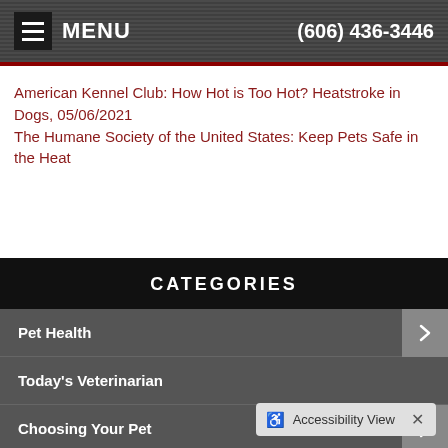MENU  (606) 436-3446
American Kennel Club: How Hot is Too Hot? Heatstroke in Dogs, 05/06/2021
The Humane Society of the United States: Keep Pets Safe in the Heat
CATEGORIES
Pet Health
Today's Veterinarian
Choosing Your Pet
Living With Your Pet